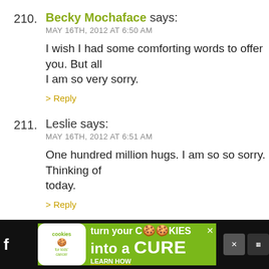210. Becky Mochaface says:
MAY 16TH, 2012 AT 6:50 AM
I wish I had some comforting words to offer you. But all I am so very sorry.
> Reply
211. Leslie says:
MAY 16TH, 2012 AT 6:51 AM
One hundred million hugs. I am so so sorry. Thinking of today.
> Reply
212. Robbie says:
MAY 16TH, 2012 AT 6:52 AM
my heart breaks for you.
> Reply
[Figure (screenshot): Advertisement banner: Cookies for Kids' Cancer — turn your COOKIES into a CURE LEARN HOW]